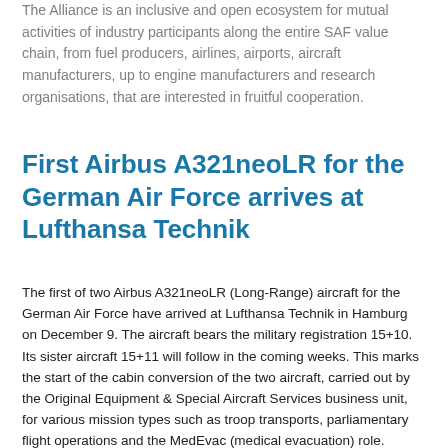The Alliance is an inclusive and open ecosystem for mutual activities of industry participants along the entire SAF value chain, from fuel producers, airlines, airports, aircraft manufacturers, up to engine manufacturers and research organisations, that are interested in fruitful cooperation.
First Airbus A321neoLR for the German Air Force arrives at Lufthansa Technik
The first of two Airbus A321neoLR (Long-Range) aircraft for the German Air Force have arrived at Lufthansa Technik in Hamburg on December 9. The aircraft bears the military registration 15+10. Its sister aircraft 15+11 will follow in the coming weeks. This marks the start of the cabin conversion of the two aircraft, carried out by the Original Equipment & Special Aircraft Services business unit, for various mission types such as troop transports, parliamentary flight operations and the MedEvac (medical evacuation) role. Delivery of the converted aircraft is scheduled for the second half of 2022.